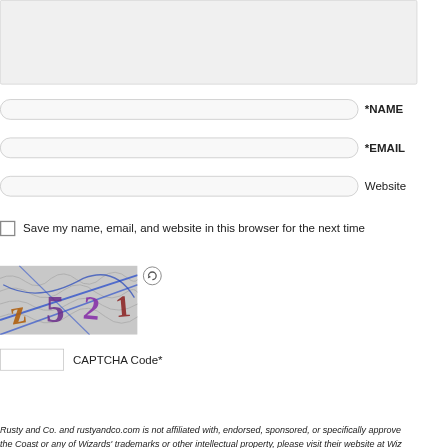[Figure (screenshot): Comment form textarea (top portion cut off), showing grey input box]
*NAME
*EMAIL
Website
Save my name, email, and website in this browser for the next time
[Figure (photo): CAPTCHA image showing distorted characters z5 2 with colourful lines over a grey textured background]
CAPTCHA Code*
Post Comment
Rusty and Co. and rustyandco.com is not affiliated with, endorsed, sponsored, or specifically approved the Coast or any of Wizards' trademarks or other intellectual property, please visit their website at Wiz
©2009-2022 Rusty & Co. | Powered by Word